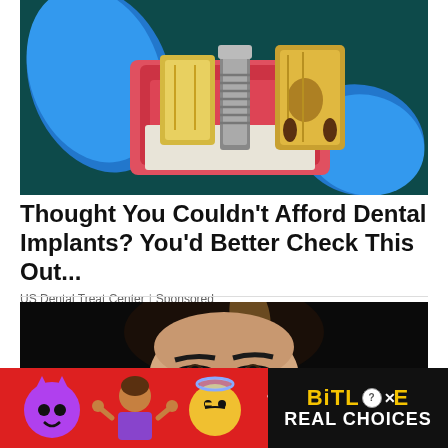[Figure (photo): Gloved hands in blue nitrile gloves holding a dental implant model showing cross-section of teeth and implant screw in pink/red gum tissue]
Thought You Couldn't Afford Dental Implants? You'd Better Check This Out...
US Dental Treat Center | Sponsored
[Figure (photo): Woman with dark hair and smoky eye makeup looking upward against dark background]
[Figure (other): BitLife app advertisement banner with red background showing devil emoji, person shrugging emoji, angel emoji, sperm emoji, and BitLife logo with text REAL CHOICES on black background]